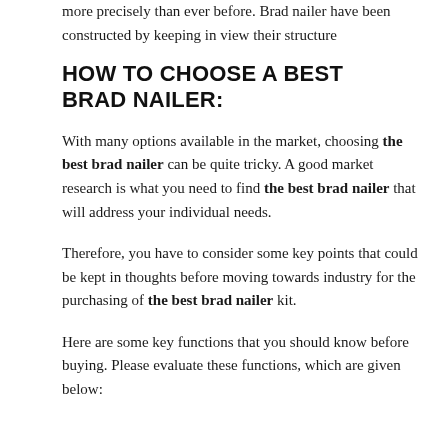more precisely than ever before. Brad nailer have been constructed by keeping in view their structure
HOW TO CHOOSE A BEST BRAD NAILER:
With many options available in the market, choosing the best brad nailer can be quite tricky. A good market research is what you need to find the best brad nailer that will address your individual needs.
Therefore, you have to consider some key points that could be kept in thoughts before moving towards industry for the purchasing of the best brad nailer kit.
Here are some key functions that you should know before buying. Please evaluate these functions, which are given below: